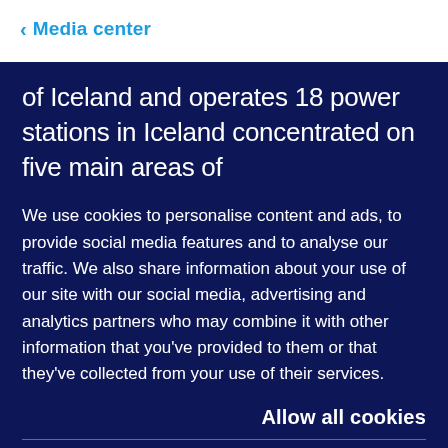< Media center
of Iceland and operates 18 power stations in Iceland concentrated on five main areas of
We use cookies to personalise content and ads, to provide social media features and to analyse our traffic. We also share information about your use of our site with our social media, advertising and analytics partners who may combine it with other information that you've provided to them or that they've collected from your use of their services.
Allow all cookies
Use necessary cookies only